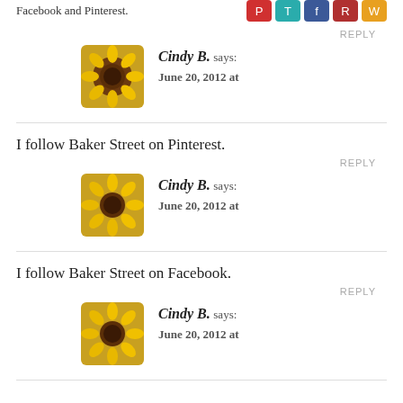Facebook and Pinterest.
[Figure (illustration): Social media sharing icons: red, teal, blue, dark red, orange]
REPLY
[Figure (photo): Sunflower avatar for Cindy B.]
Cindy B. says:
June 20, 2012 at
I follow Baker Street on Pinterest.
REPLY
[Figure (photo): Sunflower avatar for Cindy B.]
Cindy B. says:
June 20, 2012 at
I follow Baker Street on Facebook.
REPLY
[Figure (photo): Sunflower avatar for Cindy B.]
Cindy B. says:
June 20, 2012 at